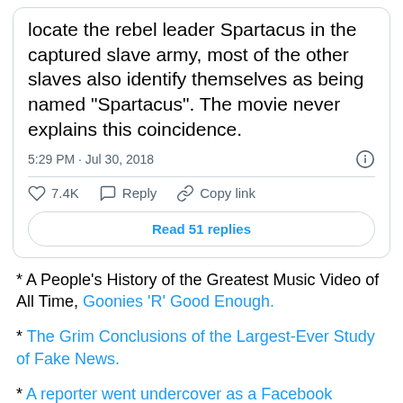locate the rebel leader Spartacus in the captured slave army, most of the other slaves also identify themselves as being named "Spartacus". The movie never explains this coincidence.
5:29 PM · Jul 30, 2018
7.4K   Reply   Copy link
Read 51 replies
* A People's History of the Greatest Music Video of All Time, Goonies 'R' Good Enough.
* The Grim Conclusions of the Largest-Ever Study of Fake News.
* A reporter went undercover as a Facebook moderator and was trained not to delete certain racist memes and